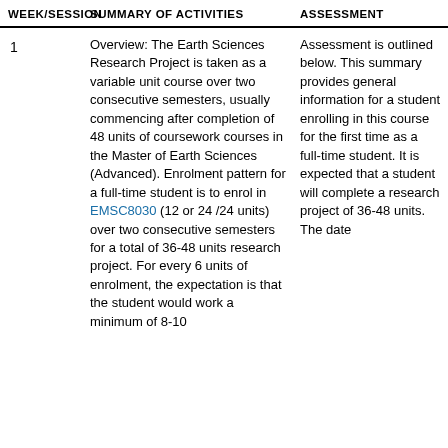| WEEK/SESSION | SUMMARY OF ACTIVITIES | ASSESSMENT |
| --- | --- | --- |
| 1 | Overview: The Earth Sciences Research Project is taken as a variable unit course over two consecutive semesters, usually commencing after completion of 48 units of coursework courses in the Master of Earth Sciences (Advanced). Enrolment pattern for a full-time student is to enrol in EMSC8030 (12 or 24 /24 units) over two consecutive semesters for a total of 36-48 units research project. For every 6 units of enrolment, the expectation is that the student would work a minimum of 8-10... | Assessment is outlined below. This summary provides general information for a student enrolling in this course for the first time as a full-time student. It is expected that a student will complete a research project of 36-48 units. The date... |